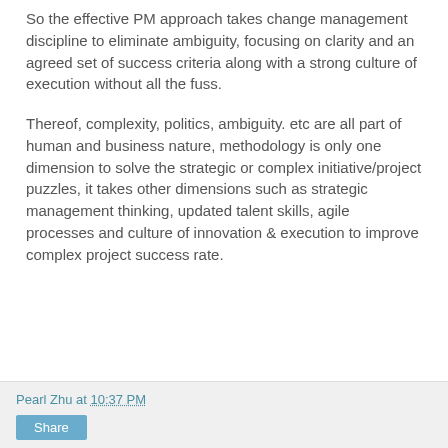So the effective PM approach takes change management discipline to eliminate ambiguity, focusing on clarity and an agreed set of success criteria along with a strong culture of execution without all the fuss.
Thereof, complexity, politics, ambiguity. etc are all part of human and business nature, methodology is only one dimension to solve the strategic or complex initiative/project puzzles, it takes other dimensions such as strategic management thinking, updated talent skills, agile processes and culture of innovation & execution to improve complex project success rate.
Pearl Zhu at 10:37 PM